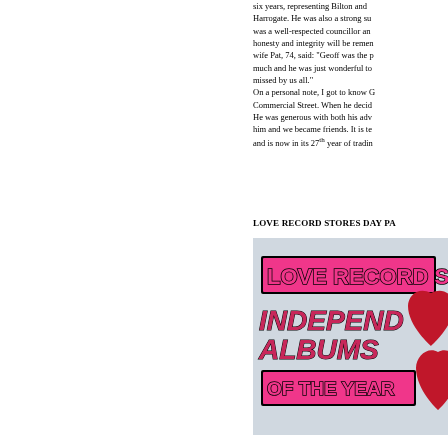six years, representing Bilton and Harrogate. He was also a strong su was a well-respected councillor an honesty and integrity will be remen wife Pat, 74, said: "Geoff was the p much and he was just wonderful to missed by us all." On a personal note, I got to know G Commercial Street. When he decid He was generous with both his adv him and we became friends. It is te and is now in its 27th year of tradin
LOVE RECORD STORES DAY PA
[Figure (illustration): Love Record Stores Day promotional image on a light blue/grey background. Features bold pink rectangular banners with dark outlines. Top banner reads 'LOVE RECORD ST' in large bold pink/magenta letters with dark stroke. Middle area shows 'INDEPEND ALBUMS' in large bold dark pink/magenta italic letters. Bottom banner reads 'OF THE YEAR' in large bold pink letters with dark outline. A large red/crimson heart shape is partially visible on the right side.]